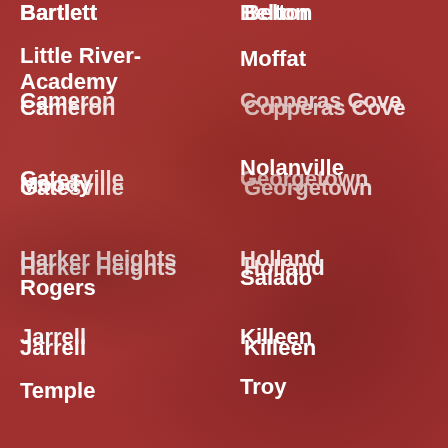Bartlett
Belton
Cameron
Copperas Cove
Gatesville
Georgetown
Harker Heights
Holland
Jarrell
Killeen
Little River-Academy
Moffat
Moody
Nolanville
Rogers
Salado
Temple
Troy